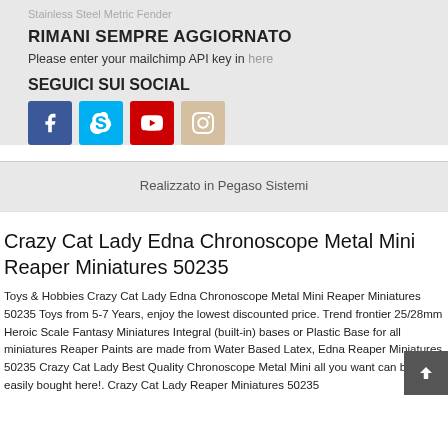Stainless Steel Metric Fender
RIMANI SEMPRE AGGIORNATO
Please enter your mailchimp API key in here
SEGUICI SUI SOCIAL
[Figure (other): Social media icons: Facebook (blue), Skype (light blue), YouTube (red), Instagram (beige)]
Realizzato in Pegaso Sistemi
Crazy Cat Lady Edna Chronoscope Metal Mini Reaper Miniatures 50235
Toys & Hobbies Crazy Cat Lady Edna Chronoscope Metal Mini Reaper Miniatures 50235 Toys from 5-7 Years, enjoy the lowest discounted price. Trend frontier 25/28mm Heroic Scale Fantasy Miniatures Integral (built-in) bases or Plastic Base for all miniatures Reaper Paints are made from Water Based Latex, Edna Reaper Miniatures 50235 Crazy Cat Lady Best Quality Chronoscope Metal Mini all you want can be easily bought here!. Crazy Cat Lady Reaper Miniatures 50235